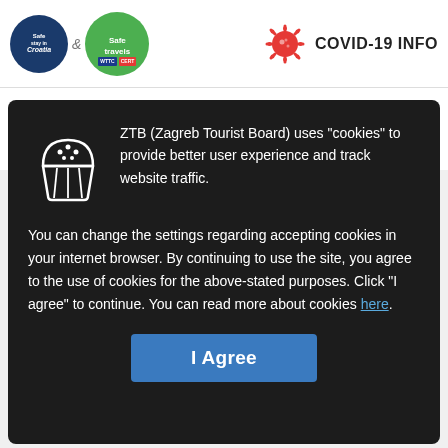[Figure (logo): Safe Stay in Croatia circular logo (blue) and ampersand, Safe Travels circular logo (green) with WTTC badge, and COVID-19 virus icon with text COVID-19 INFO in header]
Newsletter
and receive all the updates and information about your favorite city
[Figure (illustration): Cookie/muffin icon in white outline on dark background]
ZTB (Zagreb Tourist Board) uses "cookies" to provide better user experience and track website traffic. You can change the settings regarding accepting cookies in your internet browser. By continuing to use the site, you agree to the use of cookies for the above-stated purposes. Click "I agree" to continue. You can read more about cookies here.
I Agree